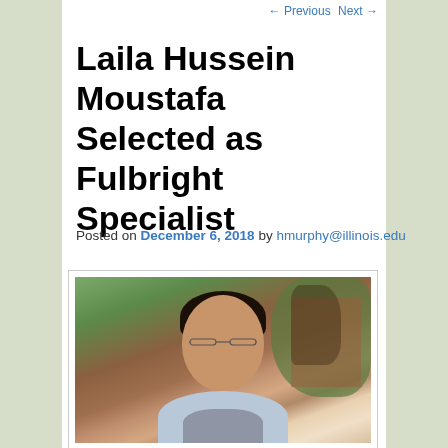← Previous   Next →
Laila Hussein Moustafa Selected as Fulbright Specialist
Posted on December 6, 2018 by hmurphy@illinois.edu
[Figure (photo): Portrait photo of Laila Hussein Moustafa, a woman with dark hair pulled back, wearing glasses, smiling, with trees and brick building in the background.]